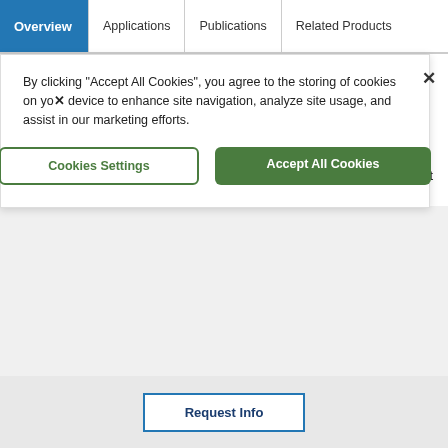Overview | Applications | Publications | Related Products
By clicking "Accept All Cookies", you agree to the storing of cookies on your device to enhance site navigation, analyze site usage, and assist in our marketing efforts.
Cookies Settings | Accept All Cookies
chemical reactions with competing byproduct reactions occur. In the video, the black plume is the byproduct of the reaction of iodine with starch. However, as soon as the starch-iodine complex reacts with thiosulfate the solution, it becomes clear again. Mixing, feed rate, and feed location all impact the primary reaction rate. The closer the feed tube is to the impeller, or the higher the stirring speed, the less byproduct is formed. On the contrary, as the stirring speed increases the
Request Info